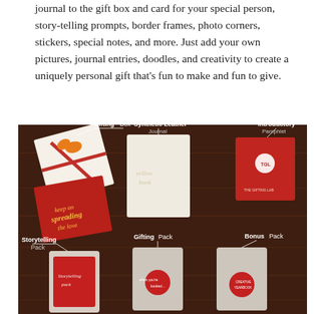journal to the gift box and card for your special person, story-telling prompts, border frames, photo corners, stickers, special notes, and more. Just add your own pictures, journal entries, doodles, and creativity to create a uniquely personal gift that's fun to make and fun to give.
[Figure (photo): Product flat-lay on a dark wood table showing: a white/red Gifting Box with orange bow, a cream Synthetic Leather Journal with embossed text, a red Introductory Pamphlet, a red Storytelling Pack pouch, a clear Gifting Pack pouch, and a clear Bonus Pack pouch. Labels with lines point to each item.]